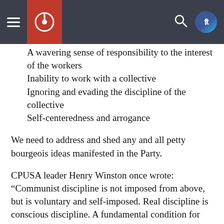Navigation bar with hamburger menu, logo, search, and social icons
A wavering sense of responsibility to the interest of the workers
Inability to work with a collective
Ignoring and evading the discipline of the collective
Self-centeredness and arrogance
We need to address and shed any and all petty bourgeois ideas manifested in the Party.
CPUSA leader Henry Winston once wrote: “Communist discipline is not imposed from above, but is voluntary and self-imposed. Real discipline is conscious discipline. A fundamental condition for Party discipline is a full understanding of Communist policies, and devotion and loyalty to the cause of the working class.” We have included this definition as part of